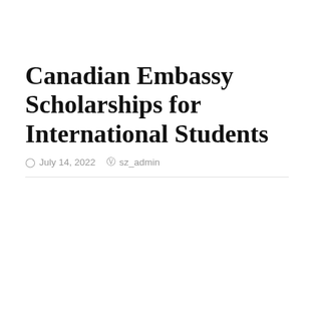Canadian Embassy Scholarships for International Students
July 14, 2022  sz_admin